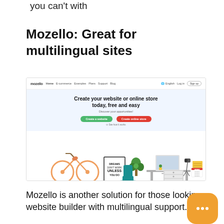you can't with
Mozello: Great for multilingual sites
[Figure (screenshot): Screenshot of the Mozello website homepage showing the navigation bar with logo and links, a hero section with the headline 'Create your website or online store today, free and easy', a 'Discover your opportunities!' subheading, two call-to-action buttons ('Create a website' in green and 'Create online store' in red), and an illustration with a bicycle, desk setup, plant, and office items.]
Mozello is another solution for those looking website builder with multilingual support. Its